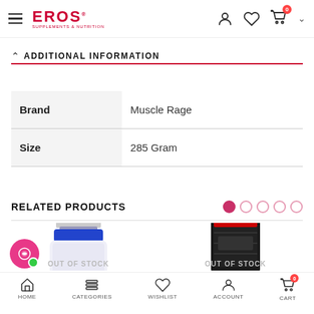EROS Supplements & Nutrition
ADDITIONAL INFORMATION
|  |  |
| --- | --- |
| Brand | Muscle Rage |
| Size | 285 Gram |
RELATED PRODUCTS
[Figure (photo): Related product 1: supplement bottle, blue/white/silver, with OUT OF STOCK label]
[Figure (photo): Related product 2: supplement product, dark packaging, with OUT OF STOCK label]
HOME  CATEGORIES  WISHLIST  ACCOUNT  CART